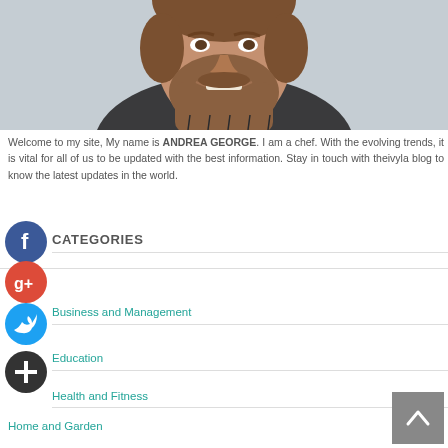[Figure (photo): Portrait photo of a bearded man smiling, wearing a dark turtleneck sweater, with a grey/misty background]
Welcome to my site, My name is ANDREA GEORGE. I am a chef. With the evolving trends, it is vital for all of us to be updated with the best information. Stay in touch with theivyla blog to know the latest updates in the world.
CATEGORIES
Business and Management
Education
Health and Fitness
Home and Garden